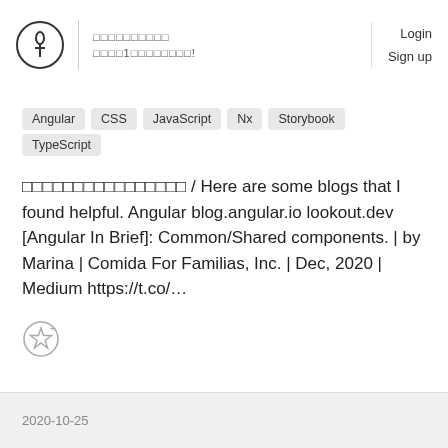Login  Sign up
Angular
CSS
JavaScript
Nx
Storybook
TypeScript
□□□□□□□□□□□□□□□□ / Here are some blogs that I found helpful. Angular blog.angular.io lookout.dev [Angular In Brief]: Common/Shared components. | by Marina | Comida For Familias, Inc. | Dec, 2020 | Medium https://t.co/…
2020-10-25